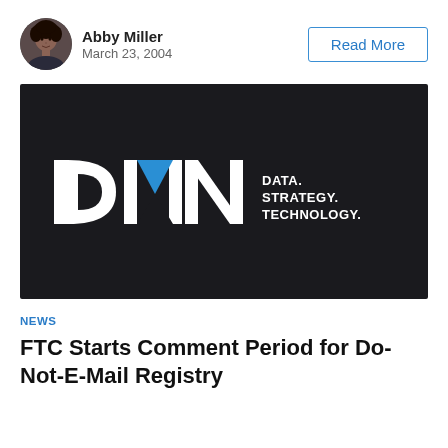[Figure (photo): Circular avatar/headshot of Abby Miller, a woman with curly hair]
Abby Miller
March 23, 2004
Read More
[Figure (logo): DMN logo on dark background — white block letters 'DMN' with blue M, followed by tagline 'DATA. STRATEGY. TECHNOLOGY.' in white text]
NEWS
FTC Starts Comment Period for Do-Not-E-Mail Registry